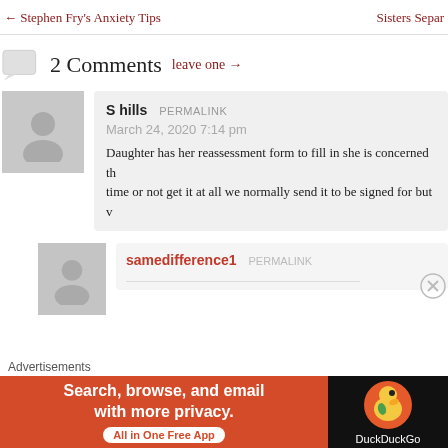← Stephen Fry's Anxiety Tips    Sisters Separ…
2 Comments  leave one →
S hills  PERMALINK
March 24, 2020 7:14 pm
Daughter has her reassessment form to fill in she is concerned th… time or not get it at all we normally send it to be signed for but v…
samedifference1  PERMALINK
[Figure (infographic): DuckDuckGo advertisement banner: orange left side with text 'Search, browse, and email with more privacy. All in One Free App', dark right side with DuckDuckGo logo and duck icon]